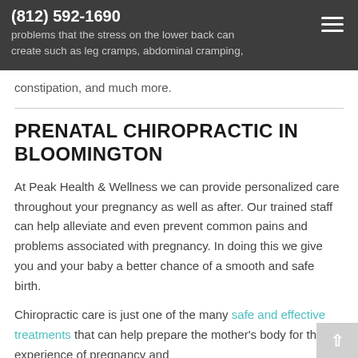(812) 592-1690
problems that the stress on the lower back can create such as leg cramps, abdominal cramping,
constipation, and much more.
PRENATAL CHIROPRACTIC IN BLOOMINGTON
At Peak Health & Wellness we can provide personalized care throughout your pregnancy as well as after. Our trained staff can help alleviate and even prevent common pains and problems associated with pregnancy. In doing this we give you and your baby a better chance of a smooth and safe birth.
Chiropractic care is just one of the many safe and effective treatments that can help prepare the mother's body for the experience of pregnancy and